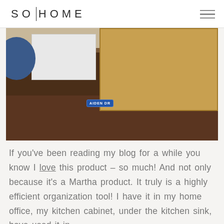SO|HOME
[Figure (photo): Photo of a dark wood desk with a bulletin/corkboard behind it, a white storage unit with drawers, a blue clock, and a blue street sign reading 'AIDEN DR']
If you've been reading my blog for a while you know I love this product – so much! And not only because it's a Martha product. It truly is a highly efficient organization tool! I have it in my home office, my kitchen cabinet, under the kitchen sink, have used it in